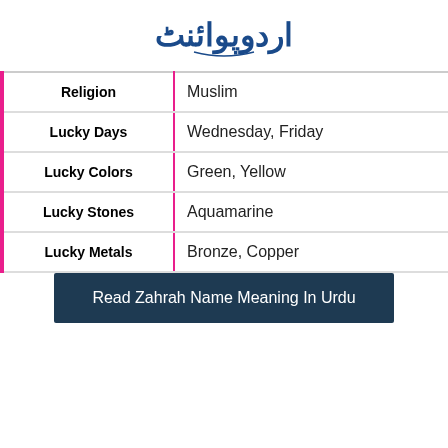[Figure (logo): Urdu Point logo in Urdu script with blue text and stylized lettering]
| Attribute | Value |
| --- | --- |
| Religion | Muslim |
| Lucky Days | Wednesday, Friday |
| Lucky Colors | Green, Yellow |
| Lucky Stones | Aquamarine |
| Lucky Metals | Bronze, Copper |
Read Zahrah Name Meaning In Urdu